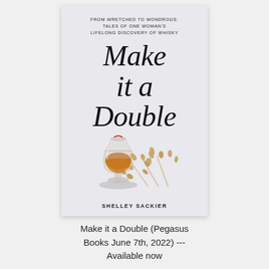[Figure (illustration): Book cover for 'Make it a Double' by Shelley Sackier. Light gray background cover with script/cursive title text 'Make it a Double', subtitle 'FROM WRETCHED TO WONDROUS: TALES OF ONE WOMAN'S LIFELONG DISCOVERY OF WHISKY', a Glencairn whisky glass with amber liquid and dried grain stalks, author name 'SHELLEY SACKIER' at bottom.]
Make it a Double (Pegasus Books June 7th, 2022) --- Available now